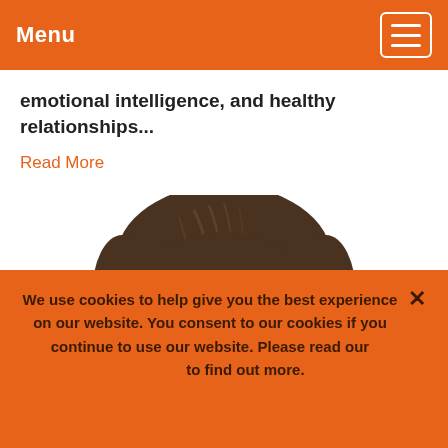Menu
emotional intelligence, and healthy relationships...
Read More
[Figure (photo): Top portion of a person's head with brown hair, cropped at eye level, centered on a white background.]
We use cookies to help give you the best experience on our website. You consent to our cookies if you continue to use our website. Please read our [cookie policy] to find out more.